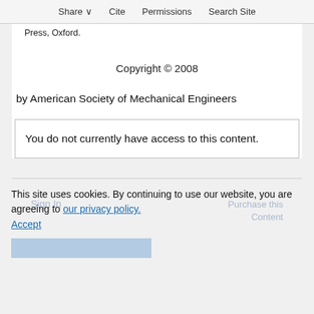Share ∨   Cite   Permissions   Search Site
Press, Oxford.
Copyright © 2008
by American Society of Mechanical Engineers
You do not currently have access to this content.
This site uses cookies. By continuing to use our website, you are agreeing to our privacy policy. Accept